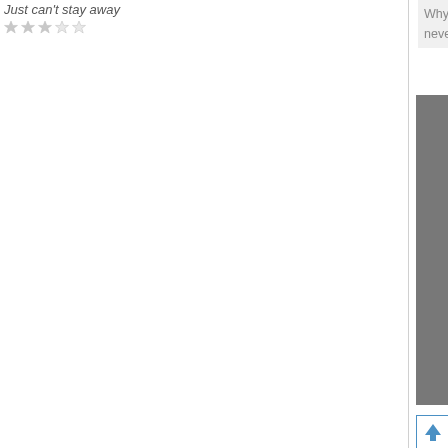Just can't stay away
[Figure (photo): Black and white vintage photo of a young blonde boy inserting a screwdriver or key into an electrical outlet on a wooden wall]
[Figure (illustration): Blue upward arrow icon in a square button]
Why wouldn't you wa... never been to a baby...
MikeZ
Re: baby born on PA...
Just can't stay away
My partner commute... would have to ask lo...
[Figure (photo): Black and white vintage photo of a young blonde boy inserting a screwdriver or key into an electrical outlet on a wooden wall (repeated)]